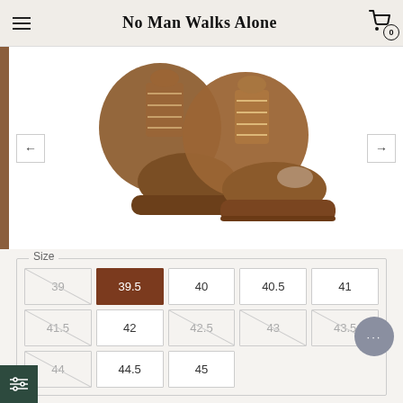No Man Walks Alone
[Figure (photo): Brown suede chukka/ankle boots pair on white background, lace-up style with leather sole]
Size
| 39 (unavailable) | 39.5 (selected) | 40 | 40.5 | 41 |
| 41.5 (unavailable) | 42 | 42.5 (unavailable) | 43 (unavailable) | 43.5 (unavailable) |
| 44 (unavailable) | 44.5 | 45 |  |  |